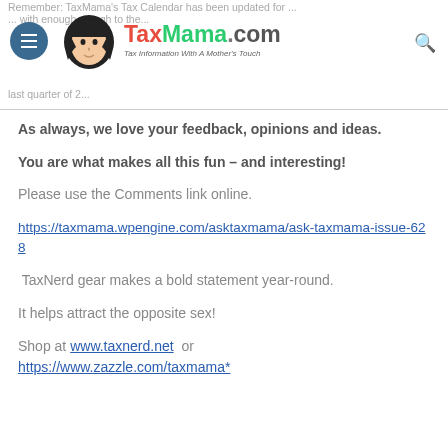Remember: TaxMama's Tax Calendar has been updated for ...with enough ...ough to the... last quarter of 2... [TaxMama.com logo — Tax Information With A Mother's Touch]
As always, we love your feedback, opinions and ideas.
You are what makes all this fun – and interesting!
Please use the Comments link online.
https://taxmama.wpengine.com/asktaxmama/ask-taxmama-issue-628
TaxNerd gear makes a bold statement year-round.
It helps attract the opposite sex!
Shop at www.taxnerd.net  or https://www.zazzle.com/taxmama*